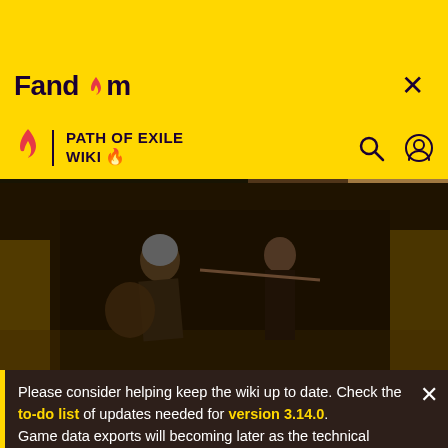[Figure (screenshot): Fandom website header with yellow background, Path of Exile Wiki navigation bar, and advertisement banner showing 'of POWER WATCH NOW | NEW SERIES']
[Figure (photo): Two warriors fighting in a wheat field, one wearing helmet and holding shield]
Please consider helping keep the wiki up to date. Check the to-do list of updates needed for version 3.14.0. Game data exports will becoming later as the technical changes in addition to regular changes take some more time.